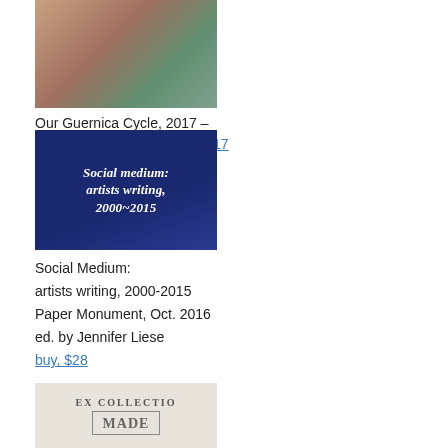[Figure (photo): Illustrated artwork showing two figures against a red background, appears to be a stylized painting or artwork related to 'Our Guernica Cycle']
Our Guernica Cycle, 2017 – about/kickstarter | exhibit, 2017
[Figure (photo): Book cover of 'Social medium: artists writing, 2000~2015' by Paper Monument, navy blue cover with white serif text]
Social Medium: artists writing, 2000-2015
Paper Monument, Oct. 2016
ed. by Jennifer Liese
buy, $28
[Figure (photo): Partial view of a stamp or bookplate reading 'EX COLLECTIO' above 'MADE']